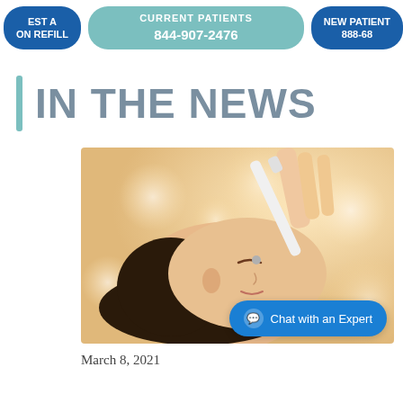EST A ON REFILL | CURRENT PATIENTS 844-907-2476 | NEW PATIENT 888-68
IN THE NEWS
[Figure (photo): A person lying down receiving a facial treatment with a white device applied near the nose by a practitioner's hand; warm bokeh background.]
Chat with an Expert
March 8, 2021